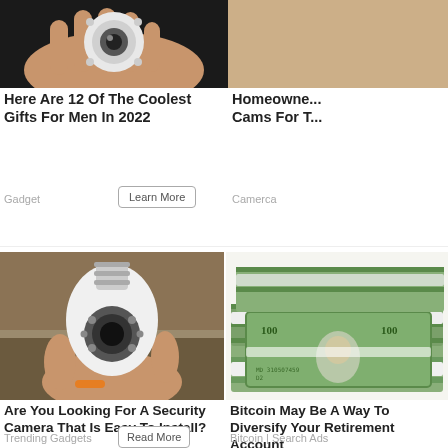[Figure (photo): Hand holding a small white round security/camera device against dark background]
Here Are 12 Of The Coolest Gifts For Men In 2022
Gadget
[Figure (photo): Close-up of sandy/skin-toned surface (partial image, right column top)]
Homeowne... Cams For T...
Camerca
[Figure (photo): Hand holding a light-bulb shaped security camera (white, with lens) — bulb-cam product photo]
Are You Looking For A Security Camera That Is Easy To Install?
Trending Gadgets
[Figure (photo): Stacks of bundled US $100 bills — money pile photo]
Bitcoin May Be A Way To Diversify Your Retirement Account
Bitcoin | Search Ads